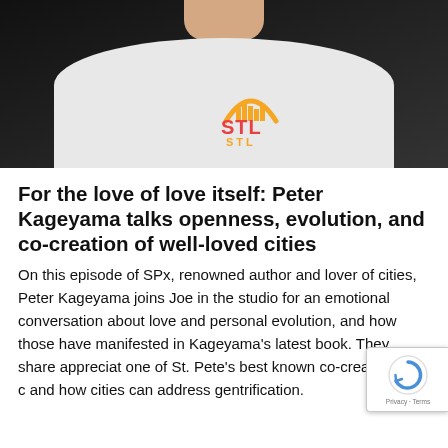[Figure (photo): Man wearing a white t-shirt with an STL (St. Louis arch) logo in orange and yellow, photographed from chin to chest against a dark background.]
For the love of love itself: Peter Kageyama talks openness, evolution, and co-creation of well-loved cities
On this episode of SPx, renowned author and lover of cities, Peter Kageyama joins Joe in the studio for an emotional conversation about love and personal evolution, and how those have manifested in Kageyama's latest book. They share appreciat one of St. Pete's best known co-creators, talk c and how cities can address gentrification.